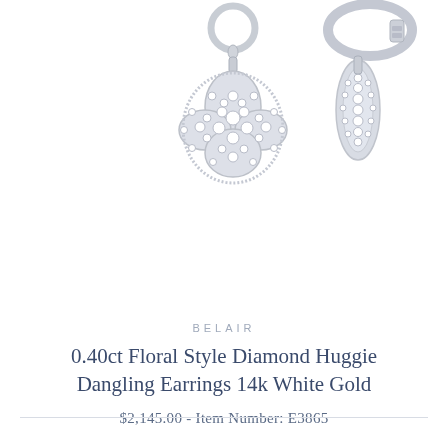[Figure (photo): Two diamond huggie earrings with floral style dangling pendants set with round diamonds in 14k white gold. Left earring shows the front face of the floral diamond charm (four-petal flower shape covered in pavé diamonds). Right earring shows the side/back view of the earring hoop and charm clasp mechanism.]
BELAIR
0.40ct Floral Style Diamond Huggie Dangling Earrings 14k White Gold
$2,145.00 - Item Number: E3865